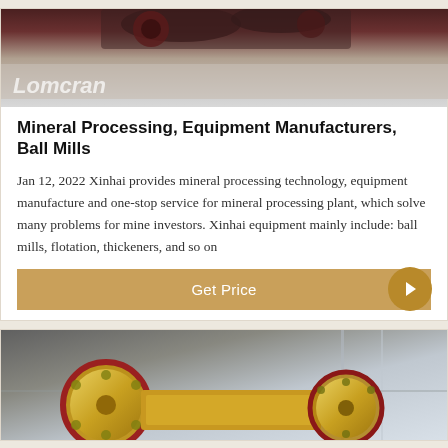[Figure (photo): Top portion of industrial machinery image with watermark text 'Lomcran' visible on grey/white background]
Mineral Processing, Equipment Manufacturers, Ball Mills
Jan 12, 2022 Xinhai provides mineral processing technology, equipment manufacture and one-stop service for mineral processing plant, which solve many problems for mine investors. Xinhai equipment mainly include: ball mills, flotation, thickeners, and so on
Get Price
[Figure (photo): Industrial crusher or mill equipment shown in a factory setting, equipment is yellow/gold colored with red accent wheels]